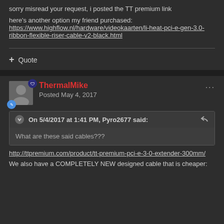sorry misread your request, i posted the TT premium link
here's another option my friend purchased: https://www.highflow.nl/hardware/videokaarten/li-heat-pci-e-gen-3.0-ribbon-flexible-riser-cable-v2-black.html
Quote
ThermalMike
Posted May 4, 2017
On 5/4/2017 at 1:41 PM, Pyro2677 said:
What are these said cables???
http://ttpremium.com/product/tt-premium-pci-e-3-0-extender-300mm/
We also have a COMPLETELY NEW designed cable that is cheaper: